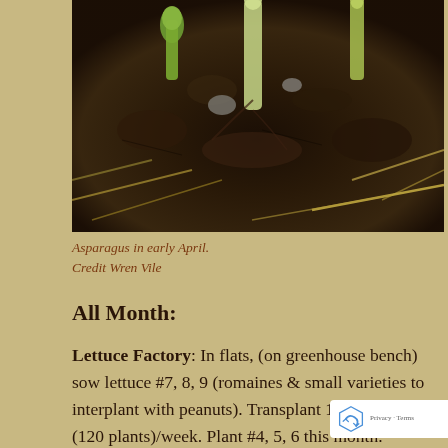[Figure (photo): Close-up photograph of asparagus shoots emerging from dark soil with straw/grass debris, taken in early April.]
Asparagus in early April.
Credit Wren Vile
All Month:
Lettuce Factory: In flats, (on greenhouse bench) sow lettuce #7, 8, 9 (romaines & small varieties to interplant with peanuts). Transplant 1/3 bed lettuce (120 plants)/week. Plant #4, 5, 6 this month. Compost Needed for April: 6–9 tractor buckets